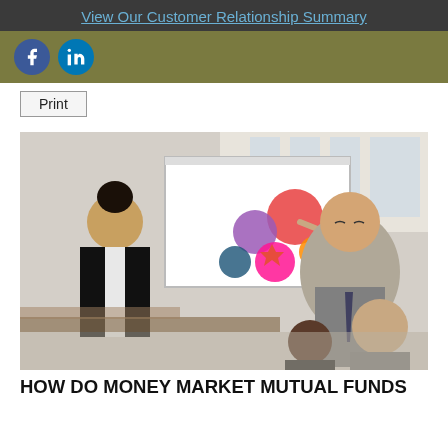View Our Customer Relationship Summary
[Figure (photo): Business meeting scene with a man in a suit presenting a colorful diagram on a whiteboard to colleagues, including a woman on the left and two people on the right listening attentively.]
HOW DO MONEY MARKET MUTUAL FUNDS